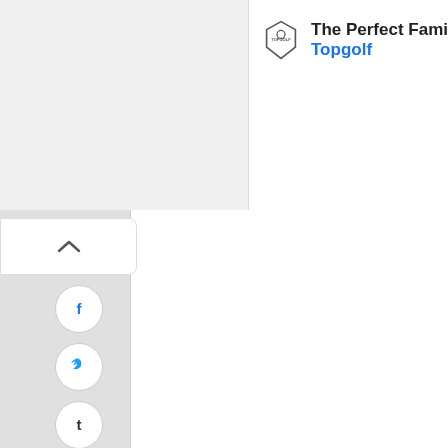[Figure (screenshot): Topgolf advertisement banner with logo, title 'The Perfect Family A...' and sponsor name 'Topgolf' in blue, with play and close icons below]
[Figure (infographic): Social media sharing sidebar with collapse arrow button at top, followed by circular icon buttons for Facebook, Twitter, Tumblr, Pinterest, LinkedIn, Email, and WhatsApp]